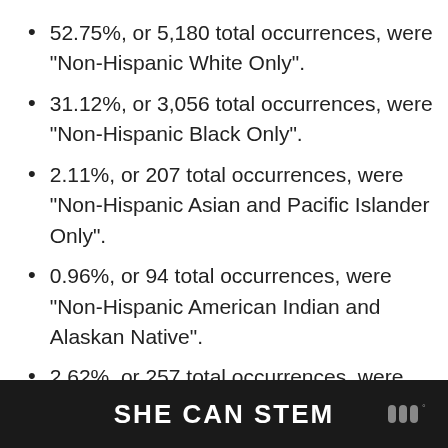52.75%, or 5,180 total occurrences, were "Non-Hispanic White Only".
31.12%, or 3,056 total occurrences, were "Non-Hispanic Black Only".
2.11%, or 207 total occurrences, were "Non-Hispanic Asian and Pacific Islander Only".
0.96%, or 94 total occurrences, were "Non-Hispanic American Indian and Alaskan Native".
2.62%, or 257 total occurrences, were "Non-Hispanic of Two or More Races".
10.44%, or 1,025 total occurrences, were [partially visible]
SHE CAN STEM